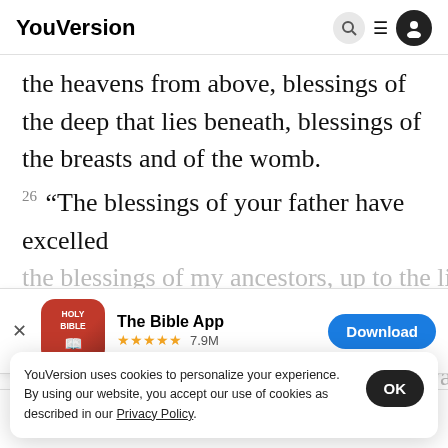YouVersion
the heavens from above, blessings of the deep that lies beneath, blessings of the breasts and of the womb.
26 “The blessings of your father have excelled the blessings of my ancestors, up to the limit of the
[Figure (screenshot): App download banner for The Bible App (YouVersion Holy Bible app icon, red with book), star rating ★★★★★ 7.9M, Download button in blue]
the crown of the head of him who wa
separate
27 “Bi
YouVersion uses cookies to personalize your experience. By using our website, you accept our use of cookies as described in our Privacy Policy.
Home  Bible  Plans  Videos